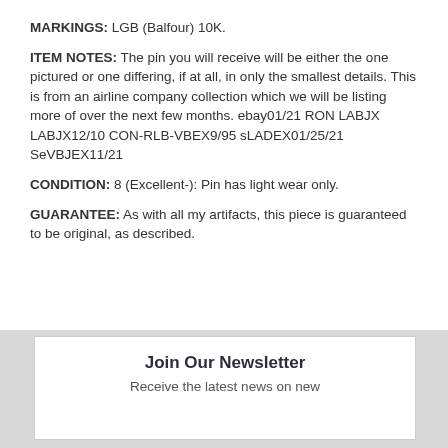MARKINGS: LGB (Balfour) 10K.
ITEM NOTES: The pin you will receive will be either the one pictured or one differing, if at all, in only the smallest details. This is from an airline company collection which we will be listing more of over the next few months. ebay01/21 RON LABJX LABJX12/10 CON-RLB-VBEX9/95 sLADEX01/25/21 SeVBJEX11/21
CONDITION: 8 (Excellent-): Pin has light wear only.
GUARANTEE: As with all my artifacts, this piece is guaranteed to be original, as described.
Join Our Newsletter
Receive the latest news on new